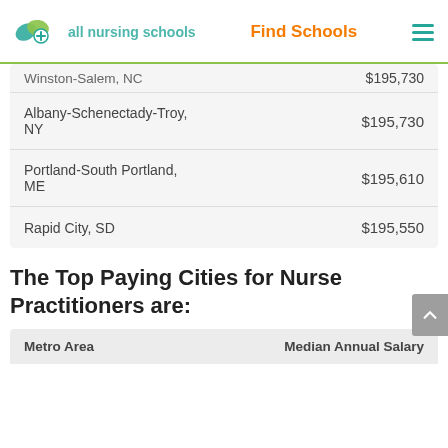all nursing schools | Find Schools
| Metro Area | Median Annual Salary |
| --- | --- |
| Winston-Salem, NC | $195,730 |
| Albany-Schenectady-Troy, NY | $195,730 |
| Portland-South Portland, ME | $195,610 |
| Rapid City, SD | $195,550 |
The Top Paying Cities for Nurse Practitioners are:
| Metro Area | Median Annual Salary |
| --- | --- |